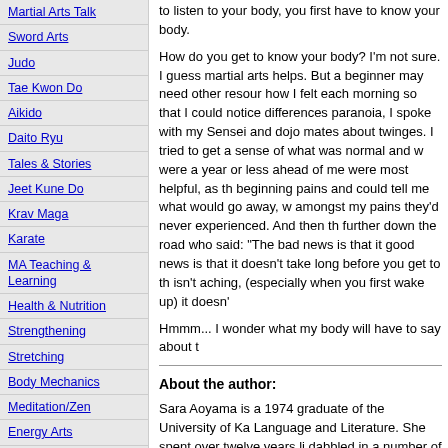Martial Arts Talk
Sword Arts
Judo
Tae Kwon Do
Aikido
Daito Ryu
Tales & Stories
Jeet Kune Do
Krav Maga
Karate
MA Teaching & Learning
Health & Nutrition
Strengthening
Stretching
Body Mechanics
Meditation/Zen
Energy Arts
Self Defense/Street Combat
Practice Fighting/Competition
Kata & Application
Pressure Points
Asian Art & Culture
Breathing & Breath Control
to listen to your body, you first have to know your body.
How do you get to know your body? I'm not sure. I guess martial arts helps. But a beginner may need other resources. how I felt each morning so that I could notice differences paranoia, I spoke with my Sensei and dojo mates about twinges. I tried to get a sense of what was normal and w were a year or less ahead of me were most helpful, as th beginning pains and could tell me what would go away, w amongst my pains they'd never experienced. And then th further down the road who said: "The bad news is that it good news is that it doesn't take long before you get to th isn't aching, (especially when you first wake up) it doesn'
Hmmm... I wonder what my body will have to say about t
About the author:
Sara Aoyama is a 1974 graduate of the University of Ka Language and Literature. She spent over twelve years li dabbled in a number of other Arts such as Ikebana (flow Shamisen. While living in Kyoto, she was able to see ma society. Currently she lives in Brattleboro, Vermont wher ryu Karate at the Brattleboro School of Budo in May, 199 for three years. She works asa free-lances as a Japanese recently, she is the translator of "The Art of Lying" by Kaz
To find more articles of interest, search on one of th
Intuition, sixth sense, self-knowlwdge, body kn